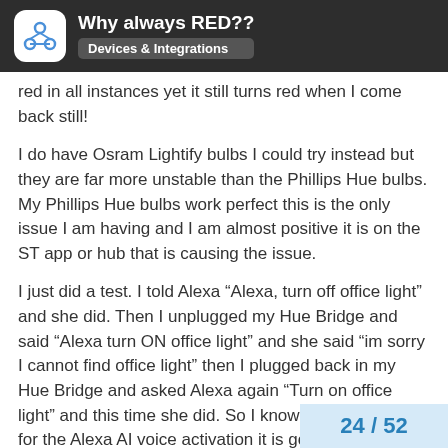Why always RED?? Devices & Integrations
red in all instances yet it still turns red when I come back still!
I do have Osram Lightify bulbs I could try instead but they are far more unstable than the Phillips Hue bulbs. My Phillips Hue bulbs work perfect this is the only issue I am having and I am almost positive it is on the ST app or hub that is causing the issue.
I just did a test. I told Alexa “Alexa, turn off office light” and she did. Then I unplugged my Hue Bridge and said “Alexa turn ON office light” and she said “im sorry I cannot find office light” then I plugged back in my Hue Bridge and asked Alexa again “Turn on office light” and this time she did. So I know for sure, at least for the Alexa AI voice activation it is going through my Hue Bridge.
I have what I think is the latest Hue Bridge which is square in shape.
I have gone in and made sure I have set the
24 / 52